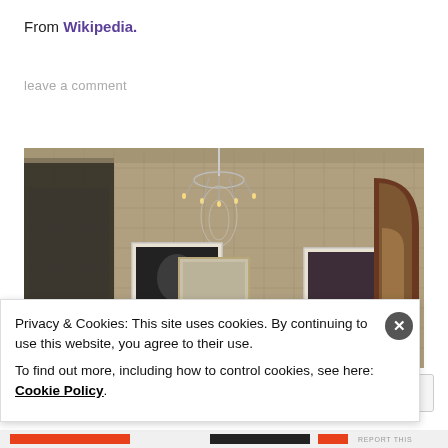From Wikipedia.
leave a comment
[Figure (photo): Interior room photograph showing a chandelier, framed artwork on tiled walls, a console table with flowers and candles, and an arched window]
Privacy & Cookies: This site uses cookies. By continuing to use this website, you agree to their use.
To find out more, including how to control cookies, see here: Cookie Policy
Close and accept